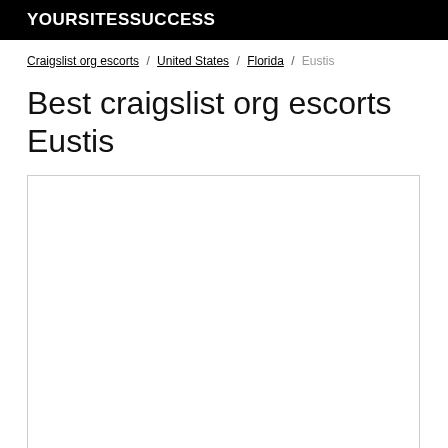YOURSITESSUCCESS
Craigslist org escorts / United States / Florida / Eustis
Best craigslist org escorts Eustis
[Figure (other): Empty white content box with border, likely an advertisement or embedded content placeholder]